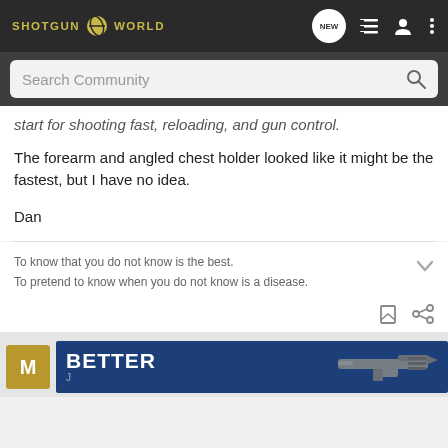SHOTGUN WORLD
start for shooting fast, reloading, and gun control.
The forearm and angled chest holder looked like it might be the fastest, but I have no idea.
Dan
To know that you do not know is the best.
To pretend to know when you do not know is a disease.
[Figure (screenshot): Bottom advertisement banner showing letter M avatar, BETTER text in white on dark blue background, and a firearm image]